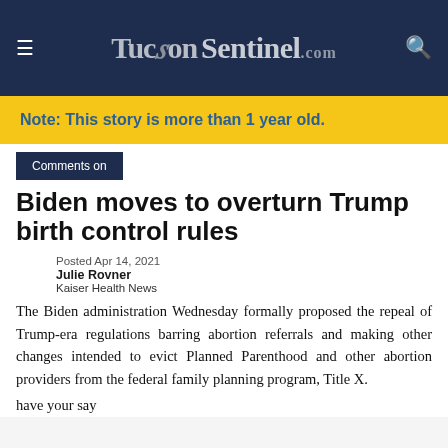TucsonSentinel.com
Note: This story is more than 1 year old.
Comments on
Biden moves to overturn Trump birth control rules
Posted Apr 14, 2021
Julie Rovner
Kaiser Health News
The Biden administration Wednesday formally proposed the repeal of Trump-era regulations barring abortion referrals and making other changes intended to evict Planned Parenthood and other abortion providers from the federal family planning program, Title X.
have your say